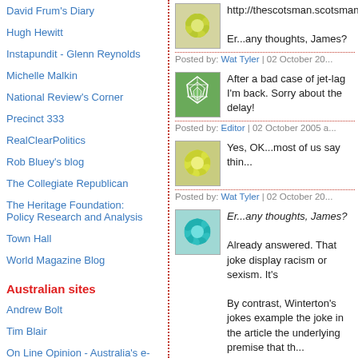David Frum's Diary
Hugh Hewitt
Instapundit - Glenn Reynolds
Michelle Malkin
National Review's Corner
Precinct 333
RealClearPolitics
Rob Bluey's blog
The Collegiate Republican
The Heritage Foundation: Policy Research and Analysis
Town Hall
World Magazine Blog
Australian sites
Andrew Bolt
Tim Blair
On Line Opinion - Australia's e-journal of social and political debate
http://thescotsman.scotsman...
Er...any thoughts, James?
Posted by: Wat Tyler | 02 October 20...
After a bad case of jet-lag I'm back. Sorry about the delay!
Posted by: Editor | 02 October 2005 a...
Yes, OK...most of us say thin...
Posted by: Wat Tyler | 02 October 20...
Er...any thoughts, James?
Already answered. That joke display racism or sexism. It's
By contrast, Winterton's jokes example the joke in the article the underlying premise that th...
The the Winterton...